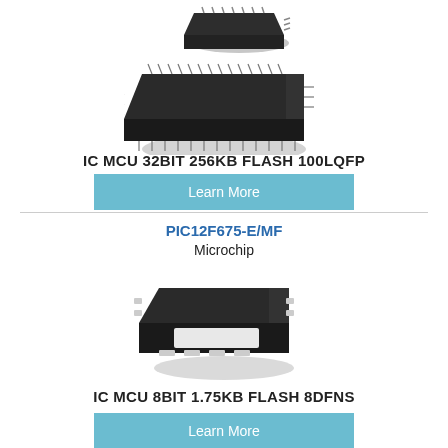[Figure (photo): Two stacked photos of LQFP100 chip packages, shown at an angle. The top chip is smaller and the bottom is larger with visible pins on all four sides.]
IC MCU 32BIT 256KB FLASH 100LQFP
Learn More
PIC12F675-E/MF
Microchip
[Figure (photo): Photo of a small 8-pin DFN/QFN chip package shown at an angle with visible pads on the bottom and sides.]
IC MCU 8BIT 1.75KB FLASH 8DFNS
Learn More